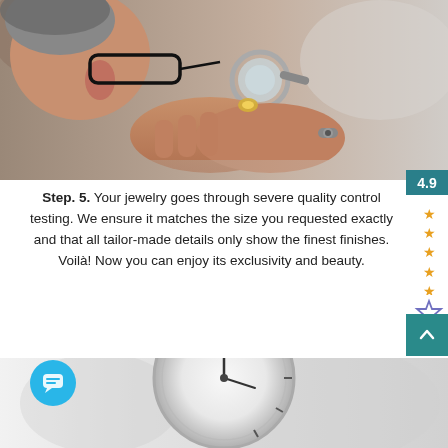[Figure (photo): Close-up of a person with glasses using a loupe/magnifier to inspect a piece of jewelry held in their hands. A ring is visible on one finger.]
Step. 5. Your jewelry goes through severe quality control testing. We ensure it matches the size you requested exactly and that all tailor-made details only show the finest finishes. Voilà! Now you can enjoy its exclusivity and beauty.
[Figure (photo): Partial image of a clock face, blurred background, bottom of the page.]